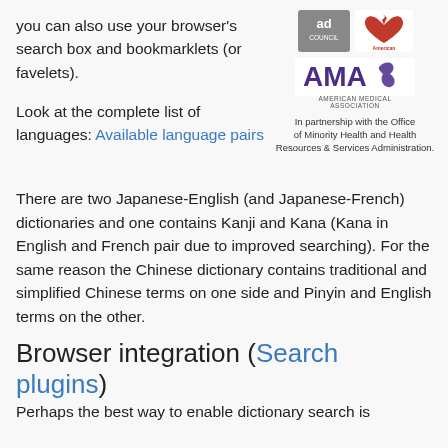you can also use your browser's search box and bookmarklets (or favelets).
Look at the complete list of languages: Available language pairs
[Figure (logo): Ad Council and American Heart Association logos, AMA (American Medical Association) logo, with text: In partnership with the Office of Minority Health and Health Resources & Services Administration.]
There are two Japanese-English (and Japanese-French) dictionaries and one contains Kanji and Kana (Kana in English and French pair due to improved searching). For the same reason the Chinese dictionary contains traditional and simplified Chinese terms on one side and Pinyin and English terms on the other.
Browser integration (Search plugins)
Perhaps the best way to enable dictionary search is